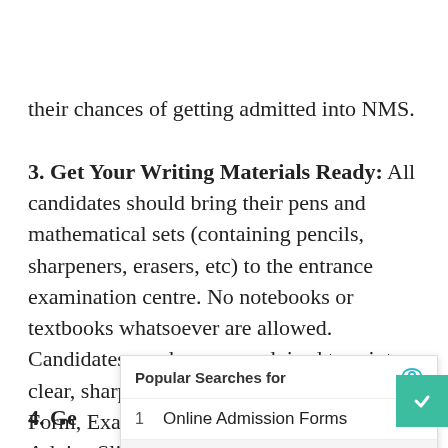their chances of getting admitted into NMS.
3. Get Your Writing Materials Ready: All candidates should bring their pens and mathematical sets (containing pencils, sharpeners, erasers, etc) to the entrance examination centre. No notebooks or textbooks whatsoever are allowed. Candidates are, however, advised to print clear, sharp copies of their Application Form, Exam Photocard and Payment Advice Slip from the N[MS portal before the day of the Entrance Exam[ination].
4. Ge[t Your...]
[Figure (screenshot): Yahoo sponsored ad overlay showing 'Popular Searches for' with two results: 1. Online Admission Forms, 2. Registration Form, with Yahoo! Search | Sponsored footer and a teal eye icon.]